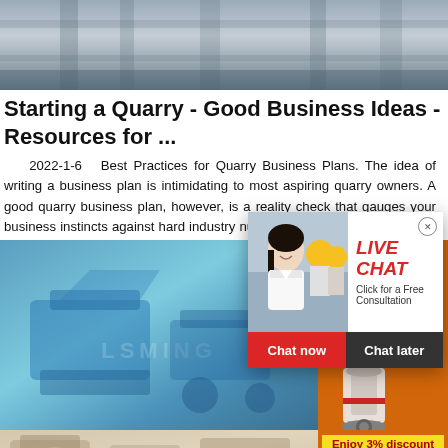[Figure (photo): Construction site or building structure with concrete pillars and structural elements, gray tones]
Starting a Quarry - Good Business Ideas - Resources for ...
2022-1-6   Best Practices for Quarry Business Plans. The idea of writing a business plan is intimidating to most aspiring quarry owners. A good quarry business plan, however, is a reality check that gauges your business instincts against hard industry numbers. After the plan has been completed, what you do next.
[Figure (photo): Blue industrial machinery/equipment with LSMING watermark, quarry/mining equipment]
[Figure (photo): Live chat popup with woman in white shirt and workers in yellow hard hats in background, with Chat now and Chat later buttons]
[Figure (infographic): Orange sidebar advertisement showing mining/crushing machines, Enjoy 3% discount, Click to Chat, and Enquiry labels]
[Figure (photo): Partial bottom image showing quarry or stone processing equipment]